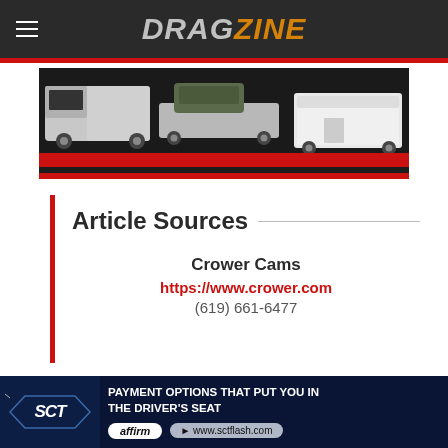DRAGZINE
[Figure (photo): Banner advertisement showing vehicles including a semi truck with living quarters, a fifth-wheel trailer on a flatbed, and a white enclosed cargo trailer against a dark background with red accent at bottom.]
Article Sources
Crower Cams
https://www.crower.com
(619) 661-6477
[Figure (photo): Bottom banner advertisement for SCT with text 'PAYMENT OPTIONS THAT PUT YOU IN THE DRIVER'S SEAT' and Affirm and www.sctflash.com badges.]